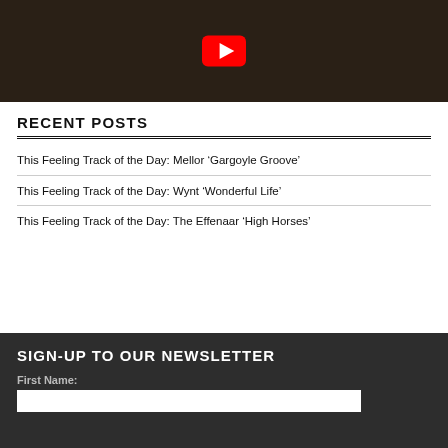[Figure (screenshot): YouTube video thumbnail showing people in a dark setting with a red YouTube play button overlay]
RECENT POSTS
This Feeling Track of the Day: Mellor ‘Gargoyle Groove’
This Feeling Track of the Day: Wynt ‘Wonderful Life’
This Feeling Track of the Day: The Effenaar ‘High Horses’
SIGN-UP TO OUR NEWSLETTER
First Name: